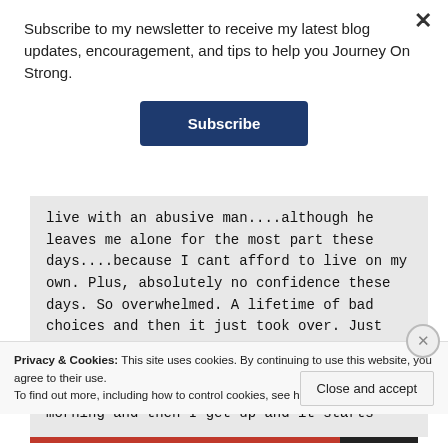Subscribe to my newsletter to receive my latest blog updates, encouragement, and tips to help you Journey On Strong.
Subscribe
live with an abusive man....although he leaves me alone for the most part these days....because I cant afford to live on my own. Plus, absolutely no confidence these days. So overwhelmed. A lifetime of bad choices and then it just took over. Just feeling so defeated and feel so much like a failure. The nights before I go to bed I tell myself it will be different in the morning and then I get up and it starts
Privacy & Cookies: This site uses cookies. By continuing to use this website, you agree to their use. To find out more, including how to control cookies, see here: Cookie Policy
Close and accept